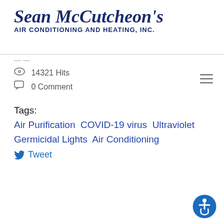Sean McCutcheon's Air Conditioning and Heating, Inc.
14321 Hits
0 Comment
Tags:
Air Purification COVID-19 virus Ultraviolet Germicidal Lights Air Conditioning
Tweet
[Figure (other): Pagination control with buttons: «, <, 1, >, »]
[Figure (other): Accessibility icon button (blue circle with wheelchair user symbol)]